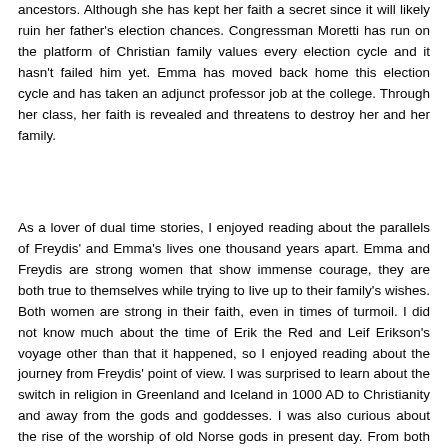ancestors. Although she has kept her faith a secret since it will likely ruin her father's election chances. Congressman Moretti has run on the platform of Christian family values every election cycle and it hasn't failed him yet. Emma has moved back home this election cycle and has taken an adjunct professor job at the college. Through her class, her faith is revealed and threatens to destroy her and her family.
As a lover of dual time stories, I enjoyed reading about the parallels of Freydis' and Emma's lives one thousand years apart. Emma and Freydis are strong women that show immense courage, they are both true to themselves while trying to live up to their family's wishes. Both women are strong in their faith, even in times of turmoil. I did not know much about the time of Erik the Red and Leif Erikson's voyage other than that it happened, so I enjoyed reading about the journey from Freydis' point of view. I was surprised to learn about the switch in religion in Greenland and Iceland in 1000 AD to Christianity and away from the gods and goddesses. I was also curious about the rise of the worship of old Norse gods in present day. From both sides of